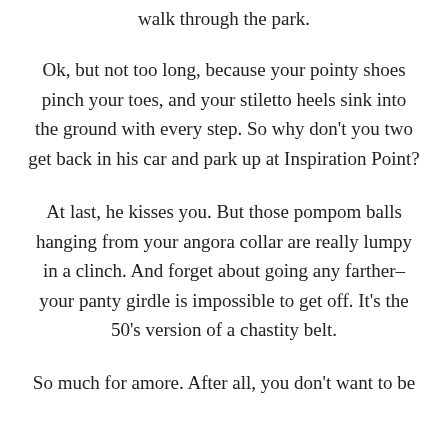walk through the park.
Ok, but not too long, because your pointy shoes pinch your toes, and your stiletto heels sink into the ground with every step. So why don't you two get back in his car and park up at Inspiration Point?
At last, he kisses you. But those pompom balls hanging from your angora collar are really lumpy in a clinch. And forget about going any farther–your panty girdle is impossible to get off. It's the 50's version of a chastity belt.
So much for amore. After all, you don't want to be